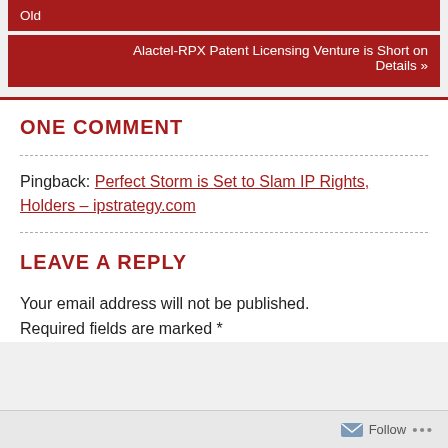Old
Alactel-RPX Patent Licensing Venture is Short on Details »
ONE COMMENT
Pingback: Perfect Storm is Set to Slam IP Rights, Holders – ipstrategy.com
LEAVE A REPLY
Your email address will not be published. Required fields are marked *